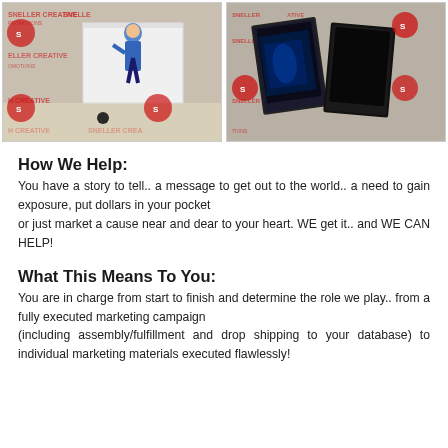[Figure (photo): Two photos side by side showing Sneller Creative Promotions branded backdrop. Left photo: a man in blue shirt moving a large white panel/display in a gymnasium-like setting. Right photo: two dark display panels/cases shown against the Sneller Creative Promotions branded backdrop.]
How We Help:
You have a story to tell.. a message to get out to the world.. a need to gain exposure, put dollars in your pocket
or just market a cause near and dear to your heart. WE get it.. and WE CAN HELP!
What This Means To You:
You are in charge from start to finish and determine the role we play.. from a fully executed marketing campaign
(including assembly/fulfillment and drop shipping to your database) to individual marketing materials executed flawlessly!